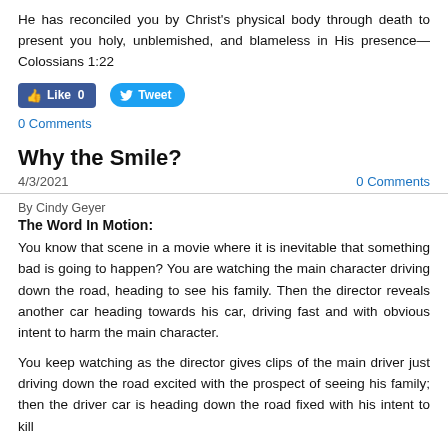He has reconciled you by Christ's physical body through death to present you holy, unblemished, and blameless in His presence—Colossians 1:22
[Figure (other): Facebook Like button showing 0 likes and Twitter Tweet button]
0 Comments
Why the Smile?
4/3/2021
0 Comments
By Cindy Geyer
The Word In Motion:
You know that scene in a movie where it is inevitable that something bad is going to happen? You are watching the main character driving down the road, heading to see his family. Then the director reveals another car heading towards his car, driving fast and with obvious intent to harm the main character.
You keep watching as the director gives clips of the main driver just driving down the road excited with the prospect of seeing his family; then the driver car is heading down the road fixed with his intent to kill